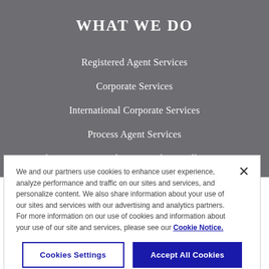WHAT WE DO
Registered Agent Services
Corporate Services
International Corporate Services
Process Agent Services
Authentication, Legalization and Apostille Services
Independent Director and Manager Services
We and our partners use cookies to enhance user experience, analyze performance and traffic on our sites and services, and personalize content. We also share information about your use of our sites and services with our advertising and analytics partners. For more information on our use of cookies and information about your use of our site and services, please see our Cookie Notice.
Cookies Settings
Accept All Cookies